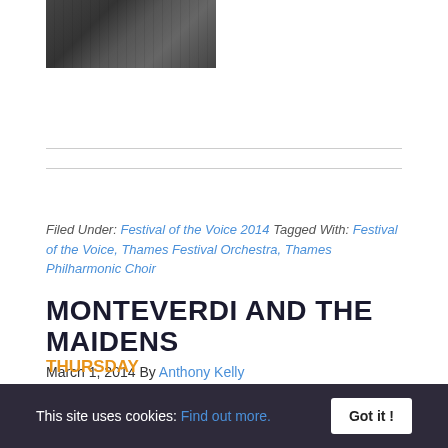[Figure (photo): Dark photograph of an orchestra or musical performance, partially visible at top of page]
Filed Under: Festival of the Voice 2014 Tagged With: Festival of the Voice, Thames Festival Orchestra, Thames Philharmonic Choir
MONTEVERDI AND THE MAIDENS
March 1, 2014 By Anthony Kelly
THE LOVEKYN CONSORT
THURSDAY
13 MARCH 2014
7.30PM
This site uses cookies: Find out more. Got it !